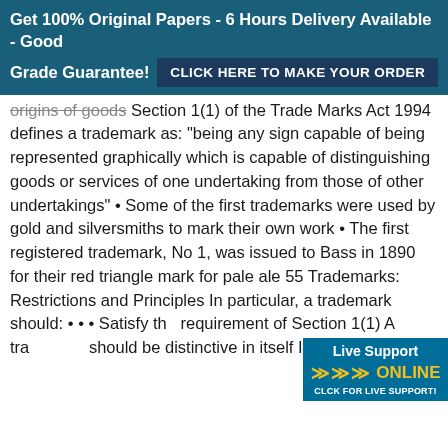Get 100% Original Papers - 6 Hours Delivery Available - Good Grade Guarantee! CLICK HERE TO MAKE YOUR ORDER
origins of goods Section 1(1) of the Trade Marks Act 1994 defines a trademark as: “being any sign capable of being represented graphically which is capable of distinguishing goods or services of one undertaking from those of other undertakings” • Some of the first trademarks were used by gold and silversmiths to mark their own work • The first registered trademark, No 1, was issued to Bass in 1890 for their red triangle mark for pale ale 55 Trademarks: Restrictions and Principles In particular, a trademark should: • • • Satisfy the requirement of Section 1(1) A trademark should be distinctive in itself It sh…